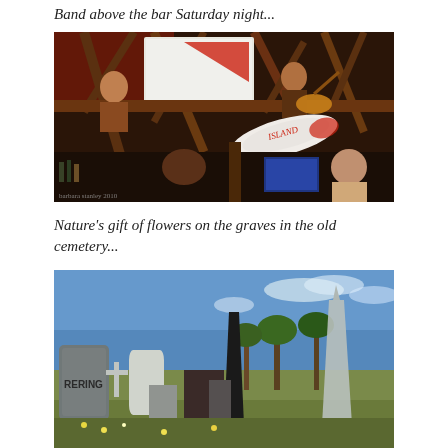Band above the bar Saturday night...
[Figure (photo): Band performing above a bar at night, with wooden bamboo structure, red lighting, musicians visible on an upper level, a surfboard visible, and people/bar area below.]
Nature's gift of flowers on the graves in the old cemetery...
[Figure (photo): Old cemetery with gravestones and grave markers under a blue sky with palm trees in background. A gravestone reading 'RERING' visible on the left.]